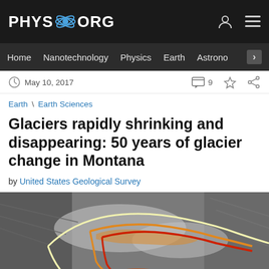PHYS.ORG
Home | Nanotechnology | Physics | Earth | Astronomy >
May 10, 2017  [comments: 9]
Earth \ Earth Sciences
Glaciers rapidly shrinking and disappearing: 50 years of glacier change in Montana
by United States Geological Survey
[Figure (photo): Satellite or aerial photograph of a glacier in Montana, showing colored outline overlays (white, orange, red) indicating glacier extent at different time periods.]